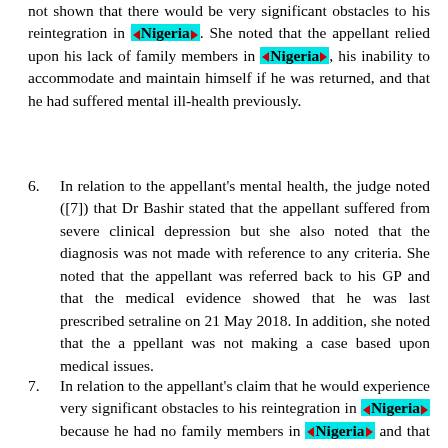not shown that there would be very significant obstacles to his reintegration in Nigeria. She noted that the appellant relied upon his lack of family members in Nigeria, his inability to accommodate and maintain himself if he was returned, and that he had suffered mental ill-health previously.
6. In relation to the appellant's mental health, the judge noted ([7]) that Dr Bashir stated that the appellant suffered from severe clinical depression but she also noted that the diagnosis was not made with reference to any criteria. She noted that the appellant was referred back to his GP and that the medical evidence showed that he was last prescribed setraline on 21 May 2018. In addition, she noted that the a ppellant was not making a case based upon medical issues.
7. In relation to the appellant's claim that he would experience very significant obstacles to his reintegration in Nigeria because he had no family members in Nigeria and that he